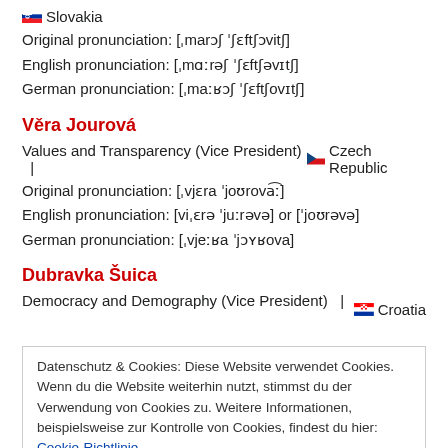Slovakia
Original pronunciation: [ˌmarɔʃ ˈʃɛftʃɔvitʃ]
English pronunciation: [ˌmɑːrəʃ ˈʃɛftʃəvɪtʃ]
German pronunciation: [ˌmaːʁɔʃ ˈʃɛftʃovɪtʃ]
Věra Jourová
Values and Transparency (Vice President)  |  Czech Republic
Original pronunciation: [ˌvjɛra ˈjoʊrova͡ː]
English pronunciation: [viˌɛrə ˈjuːrəvə] or [ˈjoʊrəvə]
German pronunciation: [ˌvjeːʁa ˈjɔʏʁova]
Dubravka Šuica
Democracy and Demography (Vice President)  |  Croatia
Datenschutz & Cookies: Diese Website verwendet Cookies. Wenn du die Website weiterhin nutzt, stimmst du der Verwendung von Cookies zu. Weitere Informationen, beispielsweise zur Kontrolle von Cookies, findest du hier: Cookie-Richtlinie
Schließen und akzeptieren
Original pronunciation: [ɗʊvɾa ...]